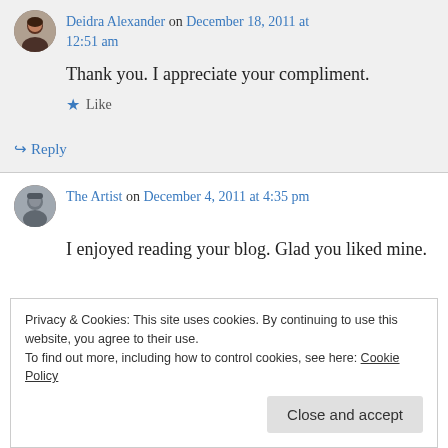Deidra Alexander on December 18, 2011 at 12:51 am
Thank you. I appreciate your compliment.
Like
Reply
The Artist on December 4, 2011 at 4:35 pm
I enjoyed reading your blog. Glad you liked mine.
Privacy & Cookies: This site uses cookies. By continuing to use this website, you agree to their use.
To find out more, including how to control cookies, see here: Cookie Policy
Close and accept
12:51 am